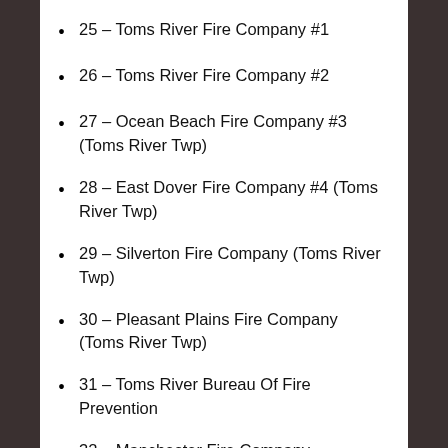25 – Toms River Fire Company #1
26 – Toms River Fire Company #2
27 – Ocean Beach Fire Company #3 (Toms River Twp)
28 – East Dover Fire Company #4 (Toms River Twp)
29 – Silverton Fire Company (Toms River Twp)
30 – Pleasant Plains Fire Company (Toms River Twp)
31 – Toms River Bureau Of Fire Prevention
32 – Manchester Fire Company
33 – Whiting Fire Company (Manchester Twp)
34 – Ridgeway Fire Company (Manchester